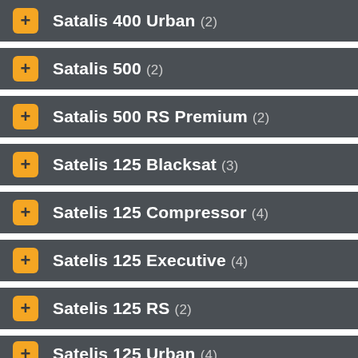Satalis 400 Urban (2)
Satalis 500 (2)
Satalis 500 RS Premium (2)
Satelis 125 Blacksat (3)
Satelis 125 Compressor (4)
Satelis 125 Executive (4)
Satelis 125 RS (2)
Satelis 125 Urban (4)